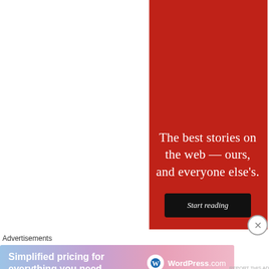[Figure (illustration): Red vertical banner advertisement for WordPress.com reading 'The best stories on the web — ours, and everyone else's.' with a black 'Start reading' button on a dark red background with thin white border lines.]
Advertisements
[Figure (illustration): WordPress.com advertisement banner with gradient background (blue to pink) showing 'Simplified pricing for everything you need.' with the WordPress.com logo on the right.]